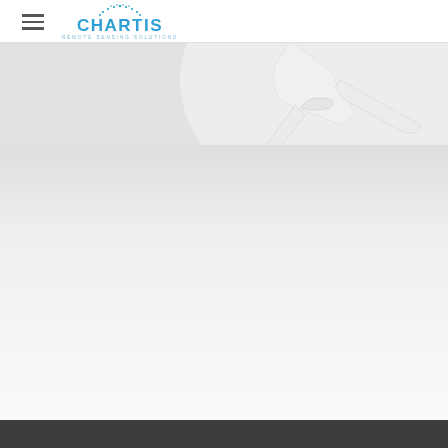Chartis Remote Sensing Solutions — navigation header with logo
[Figure (photo): Close-up photograph of a white UAV/drone landing gear or tail section against a light grey gradient background, showing a sleek aerodynamic structure with angled struts]
Dark grey footer bar